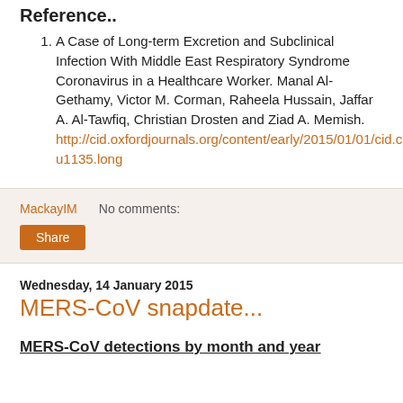Reference..
A Case of Long-term Excretion and Subclinical Infection With Middle East Respiratory Syndrome Coronavirus in a Healthcare Worker. Manal Al-Gethamy, Victor M. Corman, Raheela Hussain, Jaffar A. Al-Tawfiq, Christian Drosten and Ziad A. Memish. http://cid.oxfordjournals.org/content/early/2015/01/01/cid.ciu1135.long
MackayIM    No comments:
Share
Wednesday, 14 January 2015
MERS-CoV snapdate...
MERS-CoV detections by month and year